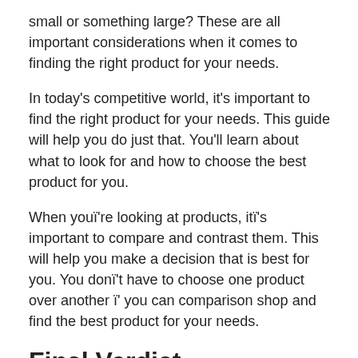small or something large? These are all important considerations when it comes to finding the right product for your needs.
In today's competitive world, it's important to find the right product for your needs. This guide will help you do just that. You'll learn about what to look for and how to choose the best product for you.
When youï're looking at products, itï's important to compare and contrast them. This will help you make a decision that is best for you. You donï't have to choose one product over another ï' you can comparison shop and find the best product for your needs.
Final Verdict